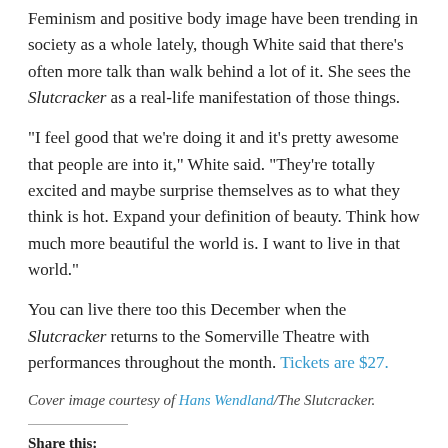Feminism and positive body image have been trending in society as a whole lately, though White said that there’s often more talk than walk behind a lot of it. She sees the Slutcracker as a real-life manifestation of those things.
“I feel good that we’re doing it and it’s pretty awesome that people are into it,” White said. “They’re totally excited and maybe surprise themselves as to what they think is hot. Expand your definition of beauty. Think how much more beautiful the world is. I want to live in that world.”
You can live there too this December when the Slutcracker returns to the Somerville Theatre with performances throughout the month. Tickets are $27.
Cover image courtesy of Hans Wendland/The Slutcracker.
Share this: